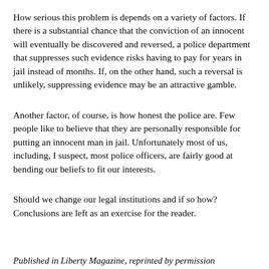How serious this problem is depends on a variety of factors. If there is a substantial chance that the conviction of an innocent will eventually be discovered and reversed, a police department that suppresses such evidence risks having to pay for years in jail instead of months. If, on the other hand, such a reversal is unlikely, suppressing evidence may be an attractive gamble.
Another factor, of course, is how honest the police are. Few people like to believe that they are personally responsible for putting an innocent man in jail. Unfortunately most of us, including, I suspect, most police officers, are fairly good at bending our beliefs to fit our interests.
Should we change our legal institutions and if so how? Conclusions are left as an exercise for the reader.
Published in Liberty Magazine, reprinted by permission